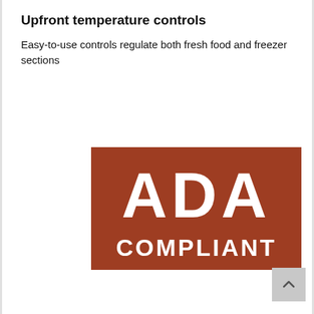Upfront temperature controls
Easy-to-use controls regulate both fresh food and freezer sections
[Figure (logo): ADA COMPLIANT badge — brown/terracotta rectangular background with large white bold text 'ADA' on top line and 'COMPLIANT' on bottom line]